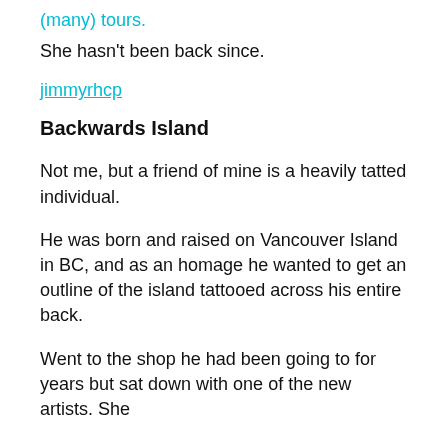(many) tours.
She hasn't been back since.
jimmyrhcp
Backwards Island
Not me, but a friend of mine is a heavily tatted individual.
He was born and raised on Vancouver Island in BC, and as an homage he wanted to get an outline of the island tattooed across his entire back.
Went to the shop he had been going to for years but sat down with one of the new artists. She